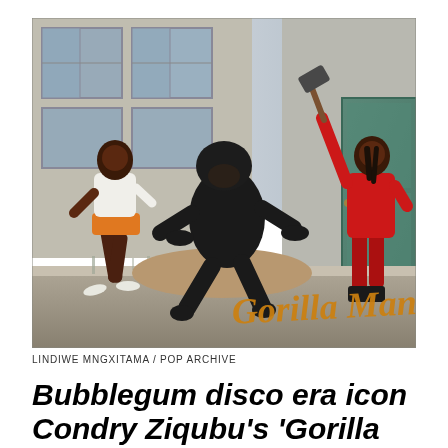[Figure (photo): A photograph showing three figures against an urban backdrop with weathered walls and windows. On the left, a young woman in a white top and orange shorts runs away. In the center, a person in a black gorilla costume is mid-leap. On the right, a person in a red tracksuit holds a raised hammer or mallet near a teal door. In the lower right of the image, cursive golden-yellow text reads 'Gorilla Man'.]
LINDIWE MNGXITAMA / POP ARCHIVE
Bubblegum disco era icon Condry Ziqubu's 'Gorilla